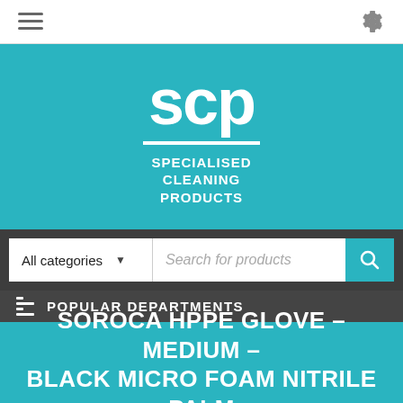[Figure (screenshot): Mobile app top bar with hamburger menu icon on left and gear/settings icon on right, white background]
[Figure (logo): SCP - Specialised Cleaning Products logo, white text on teal background. Large 'scp' letters with white underline, followed by 'SPECIALISED CLEANING PRODUCTS' text]
[Figure (screenshot): Search bar with 'All categories' dropdown on left with arrow, 'Search for products' placeholder text in center, teal search button with magnifying glass icon on right. Dark grey background behind the search bar.]
POPULAR DEPARTMENTS
SOROCA HPPE GLOVE – MEDIUM – BLACK MICRO FOAM NITRILE PALM